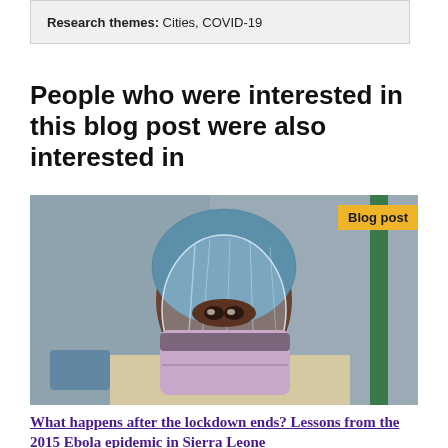Research themes: Cities, COVID-19
People who were interested in this blog post were also interested in
[Figure (photo): Healthcare worker wearing a blue hairnet, face shield, and light purple surgical mask, appearing to be in a medical facility setting.]
Blog post
What happens after the lockdown ends? Lessons from the 2015 Ebola epidemic in Sierra Leone